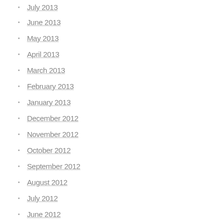July 2013
June 2013
May 2013
April 2013
March 2013
February 2013
January 2013
December 2012
November 2012
October 2012
September 2012
August 2012
July 2012
June 2012
May 2012